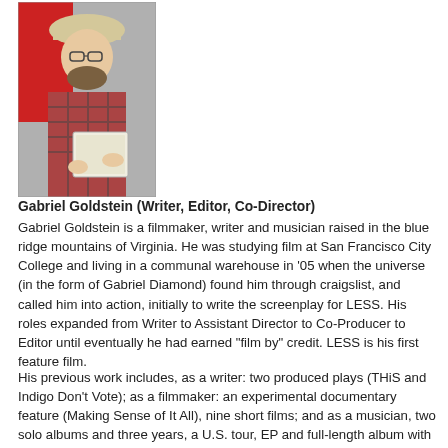[Figure (photo): Photo of Gabriel Goldstein, a bearded man wearing glasses and a cap, holding papers, dressed in a plaid shirt, with a red background behind him.]
Gabriel Goldstein (Writer, Editor, Co-Director)
Gabriel Goldstein is a filmmaker, writer and musician raised in the blue ridge mountains of Virginia. He was studying film at San Francisco City College and living in a communal warehouse in '05 when the universe (in the form of Gabriel Diamond) found him through craigslist, and called him into action, initially to write the screenplay for LESS.  His roles expanded from Writer to Assistant Director to Co-Producer to Editor until eventually he had earned “film by” credit.  LESS is his first feature film.
His previous work includes, as a writer: two produced plays (THiS and Indigo Don’t Vote); as a filmmaker: an experimental documentary feature (Making Sense of It All), nine short films; and as a musician, two solo albums and three years, a U.S. tour, EP and full-length album with Sweet Crude Bill & the Lighthouse Nautical Society.  He currently moves from